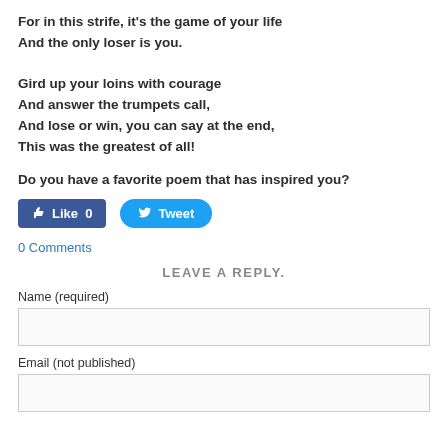For in this strife, it's the game of your life
And the only loser is you.
Gird up your loins with courage
And answer the trumpets call,
And lose or win, you can say at the end,
This was the greatest of all!
Do you have a favorite poem that has inspired you?
[Figure (other): Facebook Like button (0 likes) and Twitter Tweet button]
0 Comments
LEAVE A REPLY.
Name (required)
Email (not published)